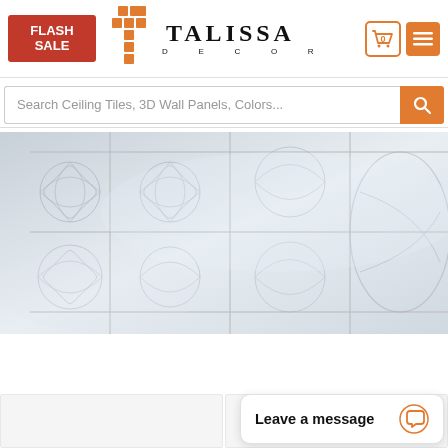[Figure (logo): Talissa Decor website header with Flash Sale badge, orange grid T logo, and TALISSA DECOR brand name]
Search Ceiling Tiles, 3D Wall Panels, Colors...
[Figure (photo): Photo of white decorative ceiling tiles with ornate embossed floral and geometric patterns installed on a ceiling]
Leave a message